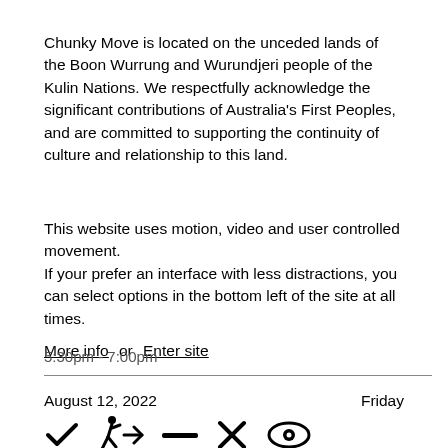Chunky Move is located on the unceded lands of the Boon Wurrung and Wurundjeri people of the Kulin Nations. We respectfully acknowledge the significant contributions of Australia's First Peoples, and are committed to supporting the continuity of culture and relationship to this land.
This website uses motion, video and user controlled movement.
If your prefer an interface with less distractions, you can select options in the bottom left of the site at all times.
More info   or   Enter site
5:30pm - 7:00pm
August 12, 2022						Friday
[Figure (other): Row of accessibility/UI icons: checkmark, accessibility icon, minus/dash, X/close, eye/visibility icon]